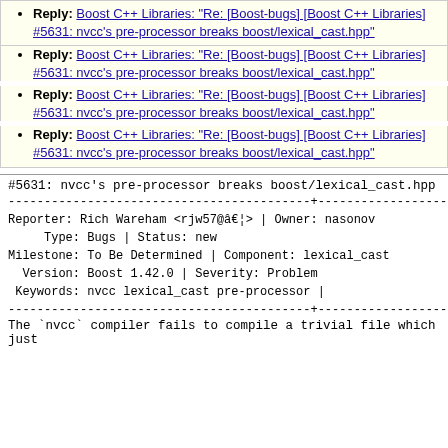Reply: Boost C++ Libraries: "Re: [Boost-bugs] [Boost C++ Libraries] #5631: nvcc's pre-processor breaks boost/lexical_cast.hpp"
Reply: Boost C++ Libraries: "Re: [Boost-bugs] [Boost C++ Libraries] #5631: nvcc's pre-processor breaks boost/lexical_cast.hpp"
Reply: Boost C++ Libraries: "Re: [Boost-bugs] [Boost C++ Libraries] #5631: nvcc's pre-processor breaks boost/lexical_cast.hpp"
Reply: Boost C++ Libraries: "Re: [Boost-bugs] [Boost C++ Libraries] #5631: nvcc's pre-processor breaks boost/lexical_cast.hpp"
#5631: nvcc's pre-processor breaks boost/lexical_cast.hpp
Reporter: Rich Wareham <rjw57@â€¦> | Owner: nasonov
 Type: Bugs | Status: new
Milestone: To Be Determined | Component: lexical_cast
 Version: Boost 1.42.0 | Severity: Problem
 Keywords: nvcc lexical_cast pre-processor |
The `nvcc` compiler fails to compile a trivial file which just